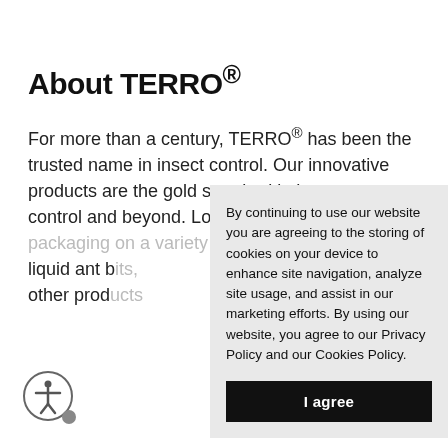About TERRO®
For more than a century, TERRO® has been the trusted name in insect control. Our innovative products are the gold standard in home ant control and beyond. Look for our bright orange packaging on a variety of products, including liquid ant b[...] other prod[...]
By continuing to use our website you are agreeing to the storing of cookies on your device to enhance site navigation, analyze site usage, and assist in our marketing efforts. By using our website, you agree to our Privacy Policy and our Cookies Policy.
I agree